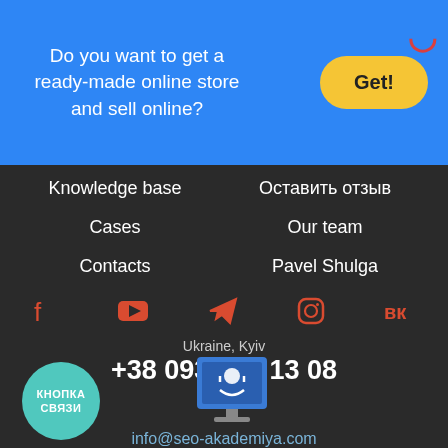Do you want to get a ready-made online store and sell online?
Get!
Knowledge base
Оставить отзыв
Cases
Our team
Contacts
Pavel Shulga
[Figure (infographic): Social media icons: Facebook, YouTube, Telegram, Instagram, VK — displayed in orange/red color]
Ukraine, Kyiv
+38 093 170 13 08
[Figure (illustration): Teal circular button labeled КНОПКА СВЯЗИ]
[Figure (illustration): Blue monitor/computer icon with headset support symbol]
info@seo-akademiya.com